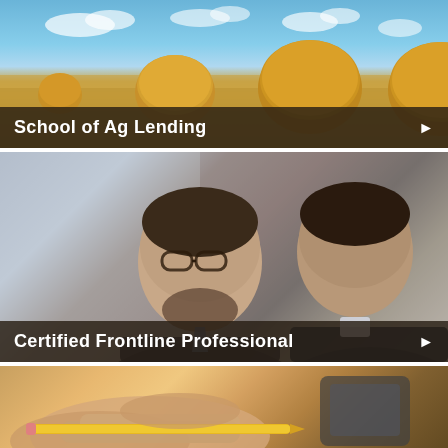[Figure (photo): Agricultural field scene with round hay bales under blue sky with clouds]
School of Ag Lending ▶
[Figure (photo): Two businessmen in suits looking down at something together, smiling]
Certified Frontline Professional ▶
[Figure (photo): Close-up of hands holding a yellow pencil, writing]